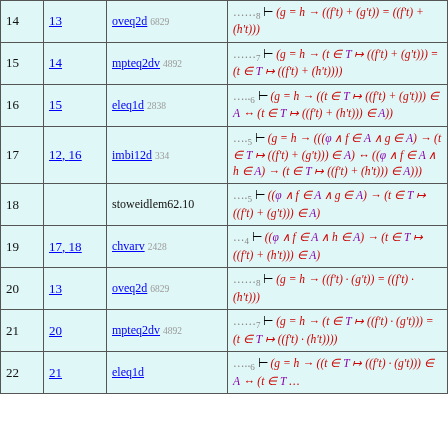| Step | From | Rule | Formula |
| --- | --- | --- | --- |
| 14 | 13 | oveq2d 6829 | ……8 ⊢ (g = h → ((f't) + (g't)) = ((f't) + (h't))) |
| 15 | 14 | mpteq2dv 4892 | ……7 ⊢ (g = h → (t ∈ T ↦ ((f't) + (g't))) = (t ∈ T ↦ ((f't) + (h't)))) |
| 16 | 15 | eleq1d 2838 | …..6 ⊢ (g = h → ((t ∈ T ↦ ((f't) + (g't))) ∈ A ↔ (t ∈ T ↦ ((f't) + (h't))) ∈ A)) |
| 17 | 12, 16 | imbi12d 334 | ….5 ⊢ (g = h → (((φ ∧ f ∈ A ∧ g ∈ A) → (t ∈ T ↦ ((f't) + (g't))) ∈ A) ↔ ((φ ∧ f ∈ A ∧ h ∈ A) → (t ∈ T ↦ ((f't) + (h't))) ∈ A))) |
| 18 |  | stoweidlem62.10 | ….5 ⊢ ((φ ∧ f ∈ A ∧ g ∈ A) → (t ∈ T ↦ ((f't) + (g't))) ∈ A) |
| 19 | 17, 18 | chvarv 2428 | …4 ⊢ ((φ ∧ f ∈ A ∧ h ∈ A) → (t ∈ T ↦ ((f't) + (h't))) ∈ A) |
| 20 | 13 | oveq2d 6829 | ……8 ⊢ (g = h → ((f't) · (g't)) = ((f't) · (h't))) |
| 21 | 20 | mpteq2dv 4892 | ……7 ⊢ (g = h → (t ∈ T ↦ ((f't) · (g't))) = (t ∈ T ↦ ((f't) · (h't)))) |
| 22 | 21 | eleq1d … | …..6 ⊢ (g = h → ((t ∈ T ↦ …) ∈ A ↔ (t ∈ T … |